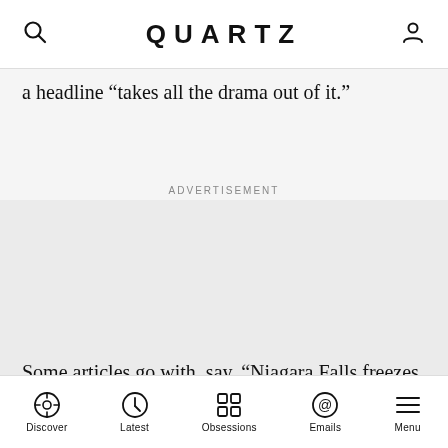QUARTZ
a headline “takes all the drama out of it.”
ADVERTISEMENT
Some articles go with, say, “Niagara Falls freezes over”
Discover | Latest | Obsessions | Emails | Menu